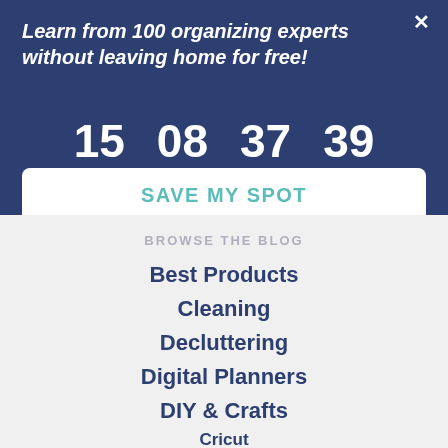Learn from 100 organizing experts without leaving home for free!
15 DAYS  08 HRS  37 MINS  39 SECS
SAVE MY SPOT
BROWSE THE BLOG
Best Products
Cleaning
Decluttering
Digital Planners
DIY & Crafts
Cricut